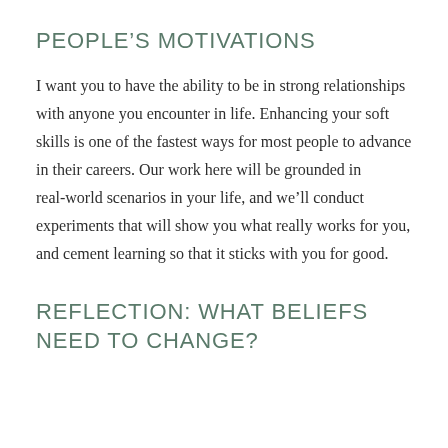PEOPLE'S MOTIVATIONS
I want you to have the ability to be in strong relationships with anyone you encounter in life. Enhancing your soft skills is one of the fastest ways for most people to advance in their careers. Our work here will be grounded in real-world scenarios in your life, and we'll conduct experiments that will show you what really works for you, and cement learning so that it sticks with you for good.
REFLECTION: WHAT BELIEFS NEED TO CHANGE?